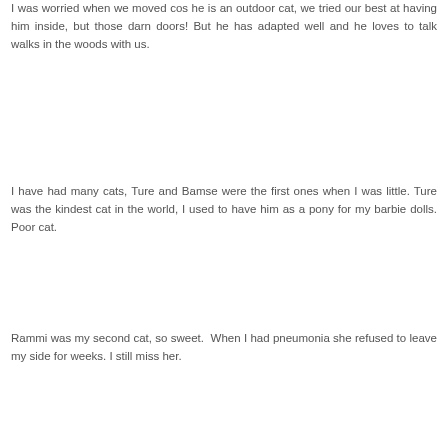I was worried when we moved cos he is an outdoor cat, we tried our best at having him inside, but those darn doors! But he has adapted well and he loves to talk walks in the woods with us.
I have had many cats, Ture and Bamse were the first ones when I was little. Ture was the kindest cat in the world, I used to have him as a pony for my barbie dolls. Poor cat.
Rammi was my second cat, so sweet. When I had pneumonia she refused to leave my side for weeks. I still miss her.